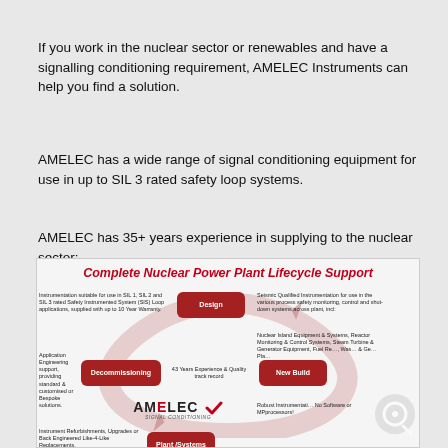If you work in the nuclear sector or renewables and have a signalling conditioning requirement, AMELEC Instruments can help you find a solution.
AMELEC has a wide range of signal conditioning equipment for use in up to SIL 3 rated safety loop systems.
AMELEC has 35+ years experience in supplying to the nuclear sector:
[Figure (infographic): Complete Nuclear Power Plant Lifecycle Support diagram showing a circular lifecycle with four rounded red boxes: Design (top), New Build (right), Plant/Systems (bottom), Decommissioning (left), connected by circular arrows. Center shows AMELEC SIGNAL CONDITIONING logo with checkmark. Surrounding text describes instrumentation for SIL 1, SIL 2 and SIL 3, seismic qualified instrumentation, application engineering support, 43 years experience, instrument refurbishments, and robust instrumentation.]